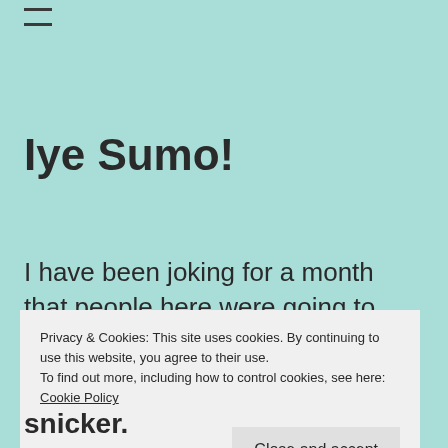—
Iye Sumo!
I have been joking for a month that people here were going to mistake me for a sumo wrestler, but it was really supposed to be just a joke.  I couldn't
Privacy & Cookies: This site uses cookies. By continuing to use this website, you agree to their use.
To find out more, including how to control cookies, see here: Cookie Policy
Close and accept
snicker.